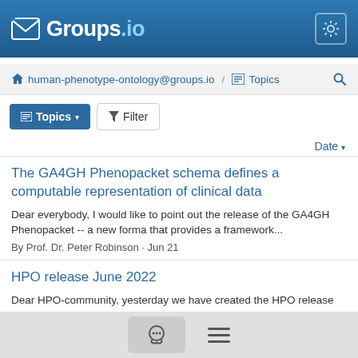Groups.io
human-phenotype-ontology@groups.io / Topics
Topics  Filter
Date
The GA4GH Phenopacket schema defines a computable representation of clinical data
Dear everybody, I would like to point out the release of the GA4GH Phenopacket -- a new forma that provides a framework...
By Prof. Dr. Peter Robinson · Jun 21
HPO release June 2022
Dear HPO-community, yesterday we have created the HPO release for June 2022 which contains many revisions and